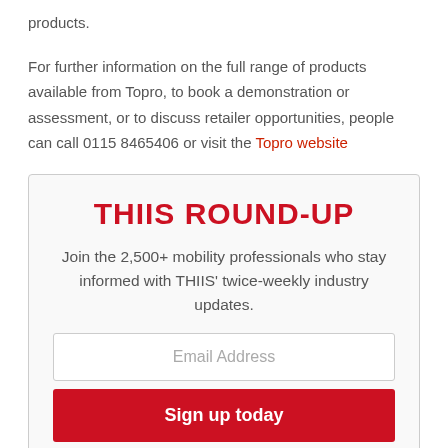products.

For further information on the full range of products available from Topro, to book a demonstration or assessment, or to discuss retailer opportunities, people can call 0115 8465406 or visit the Topro website
THIIS ROUND-UP
Join the 2,500+ mobility professionals who stay informed with THIIS' twice-weekly industry updates.
Email Address
Sign up today